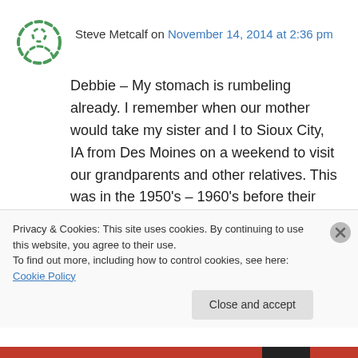[Figure (logo): Dashed circle avatar icon in green/teal dashes]
Steve Metcalf on November 14, 2014 at 2:36 pm
Debbie – My stomach is rumbeling already. I remember when our mother would take my sister and I to Sioux City, IA from Des Moines on a weekend to visit our grandparents and other relatives. This was in the 1950's – 1960's before their were interstates. So we had to work our way up to Highway 20 and over to Sioux City. The highlight of the trip was the return – we would plan to drive to Perry, Iowa for a Sunday
Privacy & Cookies: This site uses cookies. By continuing to use this website, you agree to their use.
To find out more, including how to control cookies, see here: Cookie Policy
Close and accept